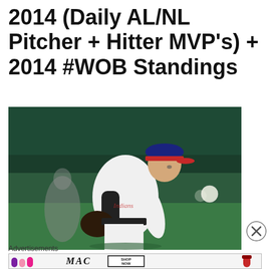2014 (Daily AL/NL Pitcher + Hitter MVP's) + 2014 #WOB Standings
[Figure (photo): Baseball pitcher in Cleveland Indians white uniform and navy/red cap, leaning forward in pitching motion, glove in left hand, blurred baseball visible to the right]
Advertisements
[Figure (photo): MAC cosmetics advertisement showing colorful lipsticks on the left, MAC logo in the center, SHOP NOW button on the right, and red lipstick on the far right]